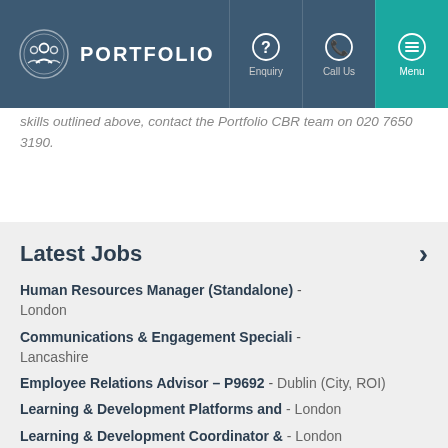PORTFOLIO — Enquiry | Call Us | Menu
skills outlined above, contact the Portfolio CBR team on 020 7650 3190.
Latest Jobs
Human Resources Manager (Standalone) - London
Communications & Engagement Speciali - Lancashire
Employee Relations Advisor – P9692 - Dublin (City, ROI)
Learning & Development Platforms and - London
Learning & Development Coordinator & - London
ER Specialist – 969182LM_166144144 - Berkshire